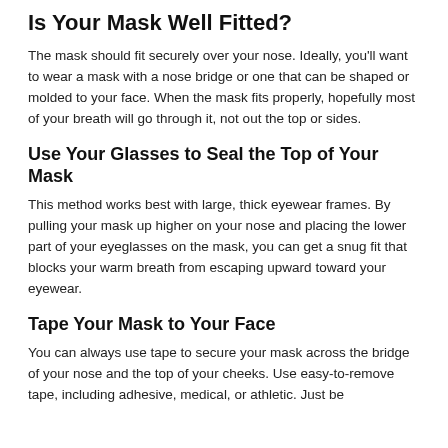Is Your Mask Well Fitted?
The mask should fit securely over your nose. Ideally, you'll want to wear a mask with a nose bridge or one that can be shaped or molded to your face. When the mask fits properly, hopefully most of your breath will go through it, not out the top or sides.
Use Your Glasses to Seal the Top of Your Mask
This method works best with large, thick eyewear frames. By pulling your mask up higher on your nose and placing the lower part of your eyeglasses on the mask, you can get a snug fit that blocks your warm breath from escaping upward toward your eyewear.
Tape Your Mask to Your Face
You can always use tape to secure your mask across the bridge of your nose and the top of your cheeks. Use easy-to-remove tape, including adhesive, medical, or athletic. Just be